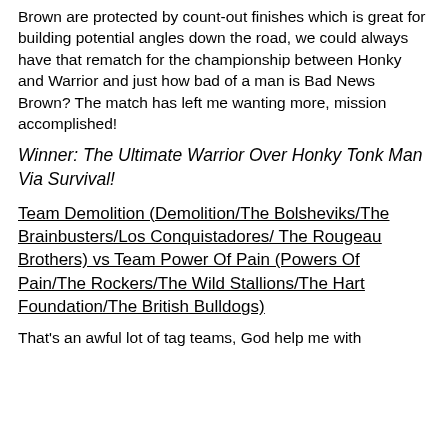Brown are protected by count-out finishes which is great for building potential angles down the road, we could always have that rematch for the championship between Honky and Warrior and just how bad of a man is Bad News Brown? The match has left me wanting more, mission accomplished!
Winner: The Ultimate Warrior Over Honky Tonk Man Via Survival!
Team Demolition (Demolition/The Bolsheviks/The Brainbusters/Los Conquistadores/ The Rougeau Brothers) vs Team Power Of Pain (Powers Of Pain/The Rockers/The Wild Stallions/The Hart Foundation/The British Bulldogs)
That's an awful lot of tag teams, God help me with